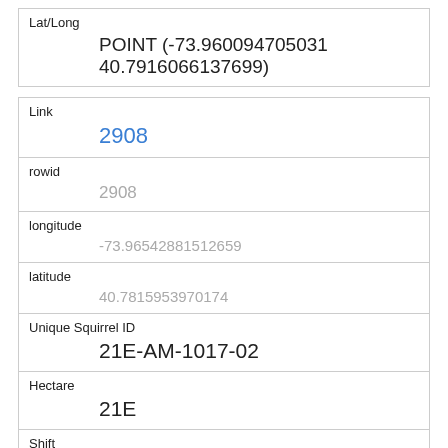| Field | Value |
| --- | --- |
| Lat/Long | POINT (-73.960094705031 40.7916066137699) |
| Link | 2908 |
| rowid | 2908 |
| longitude | -73.96542881512659 |
| latitude | 40.7815953970174 |
| Unique Squirrel ID | 21E-AM-1017-02 |
| Hectare | 21E |
| Shift | AM |
| Date | 10172018 |
| Hectare Squirrel Number |  |